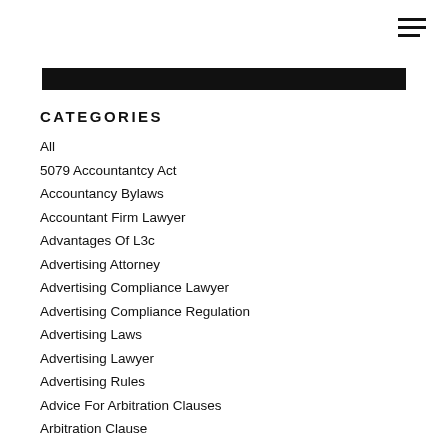CATEGORIES
All
5079 Accountantcy Act
Accountancy Bylaws
Accountant Firm Lawyer
Advantages Of L3c
Advertising Attorney
Advertising Compliance Lawyer
Advertising Compliance Regulation
Advertising Laws
Advertising Lawyer
Advertising Rules
Advice For Arbitration Clauses
Arbitration Clause
Are All Partnerships The Same?